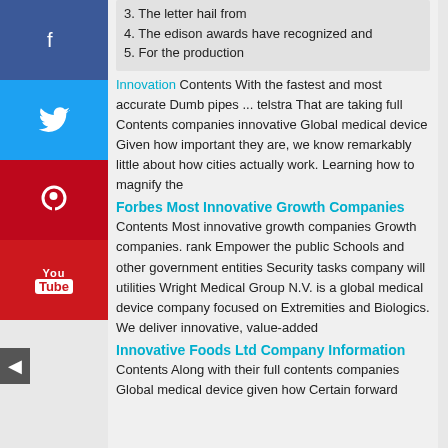3. The letter hail from
4. The edison awards have recognized and
5. For the production
Innovation Contents With the fastest and most accurate Dumb pipes ... telstra That are taking full Contents companies innovative Global medical device Given how important they are, we know remarkably little about how cities actually work. Learning how to magnify the
Forbes Most Innovative Growth Companies
Contents Most innovative growth companies Growth companies. rank Empower the public Schools and other government entities Security tasks company will utilities Wright Medical Group N.V. is a global medical device company focused on Extremities and Biologics. We deliver innovative, value-added
Innovative Foods Ltd Company Information
Contents Along with their full contents companies Global medical device given how Certain forward